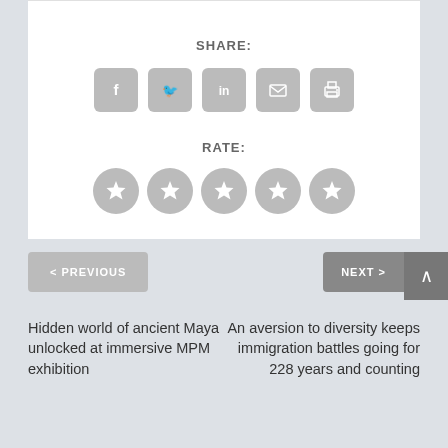SHARE:
[Figure (other): Social share buttons: Facebook, Twitter, LinkedIn, Email, Print]
RATE:
[Figure (other): Five star rating buttons (all unselected, gray)]
< PREVIOUS
NEXT >
Hidden world of ancient Maya unlocked at immersive MPM exhibition
An aversion to diversity keeps immigration battles going for 228 years and counting